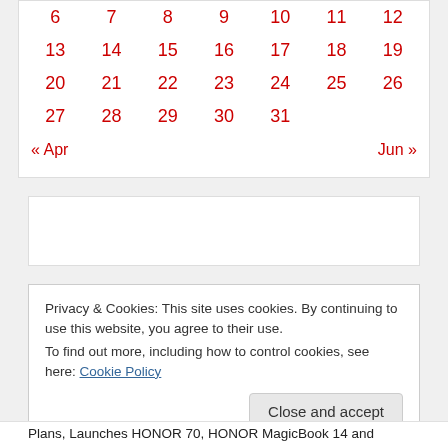| 6 | 7 | 8 | 9 | 10 | 11 | 12 |
| 13 | 14 | 15 | 16 | 17 | 18 | 19 |
| 20 | 21 | 22 | 23 | 24 | 25 | 26 |
| 27 | 28 | 29 | 30 | 31 |  |  |
« Apr    Jun »
[Figure (other): Advertisement placeholder box]
Privacy & Cookies: This site uses cookies. By continuing to use this website, you agree to their use.
To find out more, including how to control cookies, see here: Cookie Policy
Close and accept
Plans, Launches HONOR 70, HONOR MagicBook 14 and